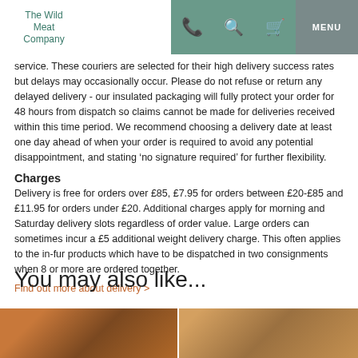The Wild Meat Company | MENU
service. These couriers are selected for their high delivery success rates but delays may occasionally occur. Please do not refuse or return any delayed delivery - our insulated packaging will fully protect your order for 48 hours from dispatch so claims cannot be made for deliveries received within this time period. We recommend choosing a delivery date at least one day ahead of when your order is required to avoid any potential disappointment, and stating ‘no signature required’ for further flexibility.
Charges
Delivery is free for orders over £85, £7.95 for orders between £20-£85 and £11.95 for orders under £20. Additional charges apply for morning and Saturday delivery slots regardless of order value. Large orders can sometimes incur a £5 additional weight delivery charge. This often applies to the in-fur products which have to be dispatched in two consignments when 8 or more are ordered together.
Find out more about delivery >
You may also like...
[Figure (photo): Product image left - warm toned food/meat product on wooden surface]
[Figure (photo): Product image right - wooden surface background]